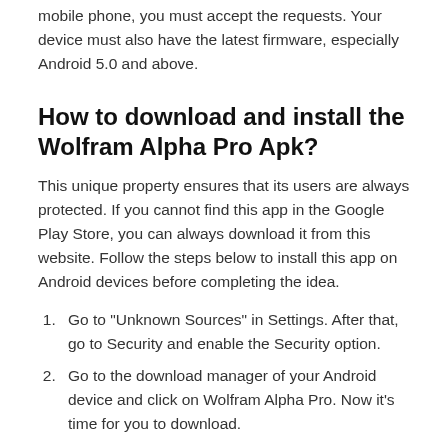mobile phone, you must accept the requests. Your device must also have the latest firmware, especially Android 5.0 and above.
How to download and install the Wolfram Alpha Pro Apk?
This unique property ensures that its users are always protected. If you cannot find this app in the Google Play Store, you can always download it from this website. Follow the steps below to install this app on Android devices before completing the idea.
Go to "Unknown Sources" in Settings. After that, go to Security and enable the Security option.
Go to the download manager of your Android device and click on Wolfram Alpha Pro. Now it's time for you to download.
Two options can be found on the mobile screen.